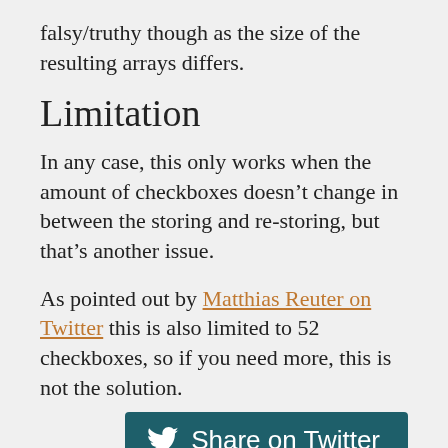falsy/truthy though as the size of the resulting arrays differs.
Limitation
In any case, this only works when the amount of checkboxes doesn’t change in between the storing and re-storing, but that’s another issue.
As pointed out by Matthias Reuter on Twitter this is also limited to 52 checkboxes, so if you need more, this is not the solution.
[Figure (other): Share on Twitter button with Twitter bird logo]
My other work: